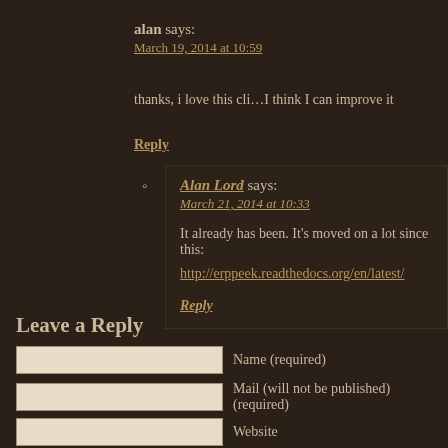alan says:
March 19, 2014 at 10:59
thanks, i love this cli…I think I can improve it
Reply
Alan Lord says:
March 21, 2014 at 10:33
It already has been. It's moved on a lot since this:
http://erppeek.readthedocs.org/en/latest/
Reply
Leave a Reply
Name (required)
Mail (will not be published) (required)
Website